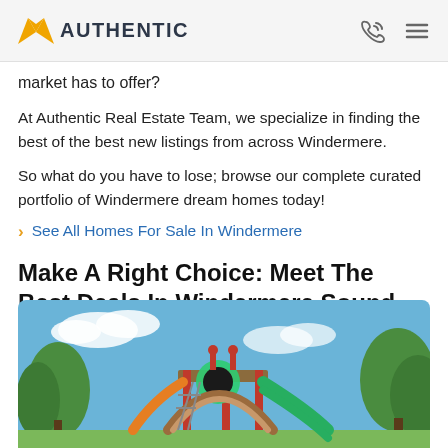AUTHENTIC (logo with phone and menu icons)
market has to offer?
At Authentic Real Estate Team, we specialize in finding the best of the best new listings from across Windermere.
So what do you have to lose; browse our complete curated portfolio of Windermere dream homes today!
See All Homes For Sale In Windermere
Make A Right Choice: Meet The Best Deals In Windermere Sound Homes For Sale!
[Figure (photo): Outdoor playground structure with slides and climbing equipment, green trees in background, blue sky with white clouds]